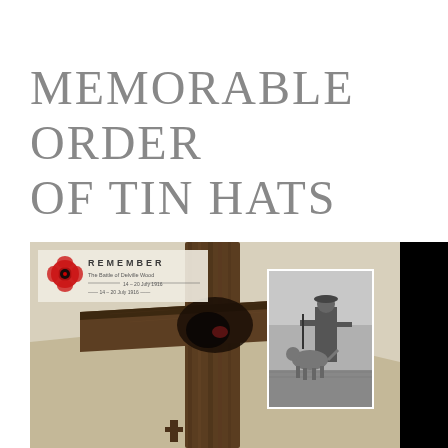MEMORABLE ORDER OF TIN HATS
[Figure (photo): Composite image: a wooden memorial cross in the foreground with a 'REMEMBER – The Battle of Delville Wood 14–20 July 1916' poster featuring a red poppy in the upper left, and a black-and-white historical photograph of a soldier with a dog overlaid on the right, against a black vertical strip background.]